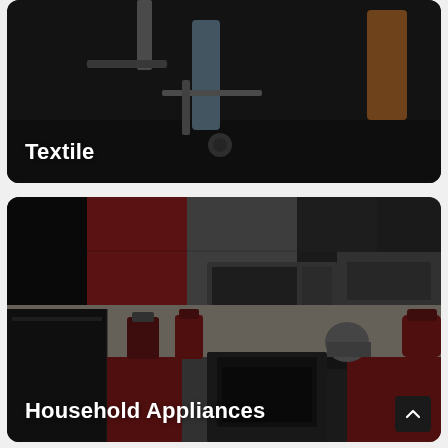[Figure (photo): Dark-toned photo of textile/sewing machine equipment on a table, partially cropped. White bold text 'Textile' overlaid at bottom-left.]
[Figure (photo): Dark-toned photo of a modern kitchen with red and dark grey cabinets, various household appliances including refrigerator, microwave, oven, mixer, coffee maker. White bold text 'Household Appliances' overlaid at bottom-left. Small dark scroll-to-top button at bottom-right.]